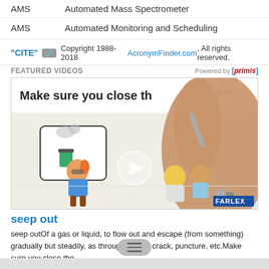AMS    Automated Mass Spectrometer
AMS    Automated Monitoring and Scheduling
"CITE" [link icon] Copyright 1988-2018 AcronymFinder.com, All rights reserved.
FEATURED VIDEOS   Powered by [primis]
[Figure (screenshot): Video thumbnail showing animated science video with title 'Make sure you close th...' and FARLEX logo, with play button overlay. Shows a hand writing and cartoon children doing science experiments.]
seep out
seep outOf a gas or liquid, to flow out and escape (from something) gradually but steadily, as through a leak, crack, puncture, etc.Make sure you close the
Advertisement. Bad banner? Please let us know Remove Ads
Suggest new definition